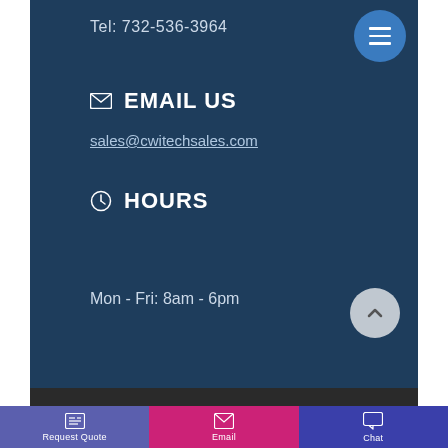Tel: 732-536-3964
EMAIL US
sales@cwitechsales.com
HOURS
Mon - Fri: 8am - 6pm
Request Quote
Email
Chat